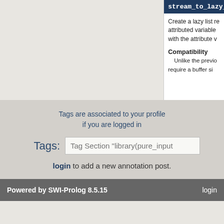stream_to_lazy_lis
Create a lazy list re attributed variable with the attribute v
Compatibility
Unlike the previo require a buffer si
Tags are associated to your profile if you are logged in
Tags: Tag Section "library(pure_input
login to add a new annotation post.
Powered by SWI-Prolog 8.5.15   login